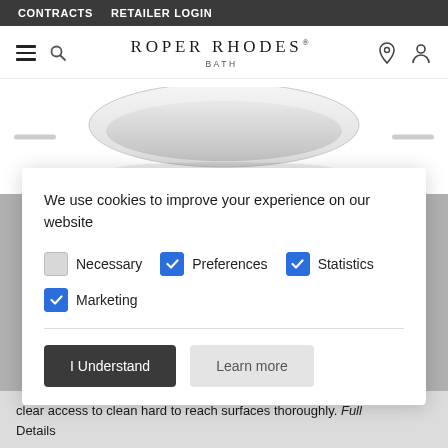CONTRACTS   RETAILER LOGIN
[Figure (logo): Roper Rhodes Bath logo with hamburger menu and navigation icons]
[Figure (photo): White freestanding bathtub on white background]
We use cookies to improve your experience on our website
Necessary (unchecked), Preferences (checked), Statistics (checked)
Marketing (checked)
I Understand   Learn more
clear access to clean hard to reach surfaces thoroughly. Full Details